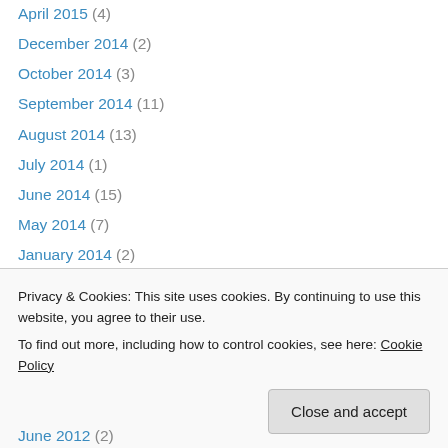April 2015 (4)
December 2014 (2)
October 2014 (3)
September 2014 (11)
August 2014 (13)
July 2014 (1)
June 2014 (15)
May 2014 (7)
January 2014 (2)
December 2013 (2)
November 2013 (3)
October 2013 (1)
April 2013 (4)
February 2013 (2)
June 2012 (2)
Privacy & Cookies: This site uses cookies. By continuing to use this website, you agree to their use. To find out more, including how to control cookies, see here: Cookie Policy